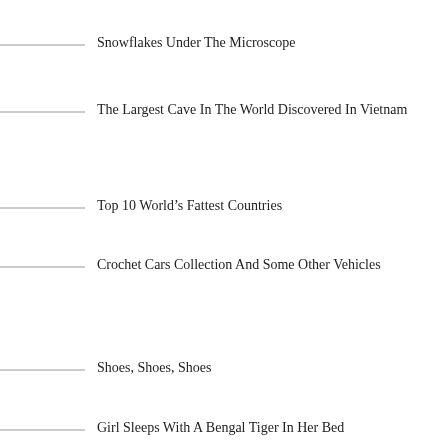Snowflakes Under The Microscope
The Largest Cave In The World Discovered In Vietnam
Top 10 World’s Fattest Countries
Crochet Cars Collection And Some Other Vehicles
Shoes, Shoes, Shoes
Girl Sleeps With A Bengal Tiger In Her Bed
Healthy Snacks!
Shocking Pet Creations Dolls By Juliа